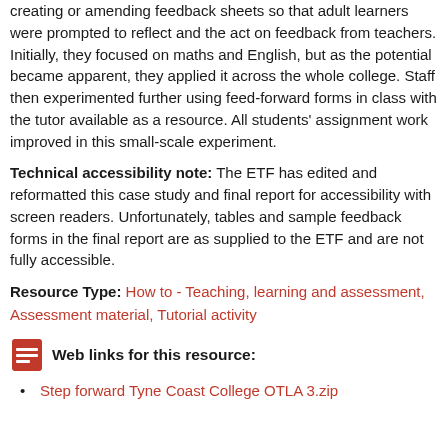creating or amending feedback sheets so that adult learners were prompted to reflect and the act on feedback from teachers. Initially, they focused on maths and English, but as the potential became apparent, they applied it across the whole college. Staff then experimented further using feed-forward forms in class with the tutor available as a resource. All students' assignment work improved in this small-scale experiment.
Technical accessibility note: The ETF has edited and reformatted this case study and final report for accessibility with screen readers. Unfortunately, tables and sample feedback forms in the final report are as supplied to the ETF and are not fully accessible.
Resource Type: How to - Teaching, learning and assessment, Assessment material, Tutorial activity
Web links for this resource:
Step forward Tyne Coast College OTLA 3.zip